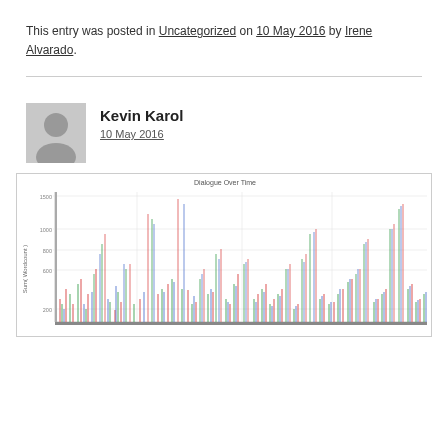This entry was posted in Uncategorized on 10 May 2016 by Irene Alvarado.
Kevin Karol
10 May 2016
[Figure (continuous-plot): A time-series bar/line chart titled 'Dialogue Over Time' showing Sum(Wordcount) on the y-axis with multiple colored spikes representing dialogue word counts over time. The y-axis ranges from 0 to approximately 1500, with several tall peaks visible throughout.]